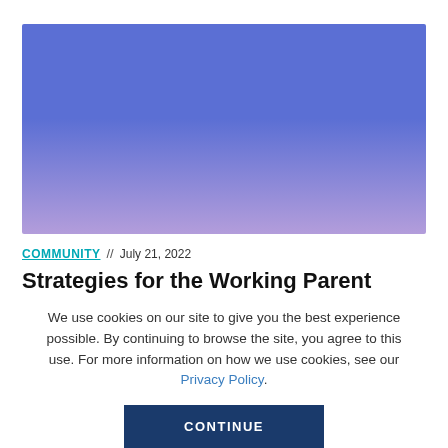[Figure (illustration): Gradient rectangle transitioning from blue-purple at top to lavender-purple at bottom, used as hero image placeholder]
COMMUNITY // July 21, 2022
Strategies for the Working Parent
We use cookies on our site to give you the best experience possible. By continuing to browse the site, you agree to this use. For more information on how we use cookies, see our Privacy Policy.
CONTINUE